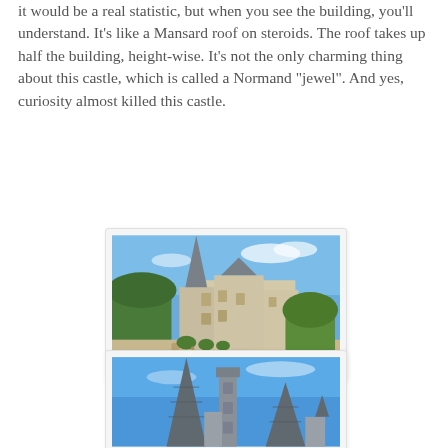it would be a real statistic, but when you see the building, you'll understand. It's like a Mansard roof on steroids. The roof takes up half the building, height-wise. It's not the only charming thing about this castle, which is called a Normand "jewel". And yes, curiosity almost killed this castle.
[Figure (photo): Photograph of a Norman castle with distinctive steep roofs and spires, showing the main facade with manicured topiary hedges in the foreground and a blue sky background.]
[Figure (photo): Close-up photograph of the steep slate roofs and spires of the Norman castle against a blue sky, emphasizing the dramatic height of the roofline.]